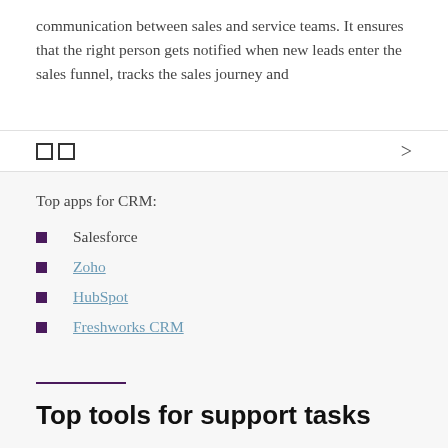communication between sales and service teams. It ensures that the right person gets notified when new leads enter the sales funnel, tracks the sales journey and
□□  >
Top apps for CRM:
Salesforce
Zoho
HubSpot
Freshworks CRM
Top tools for support tasks